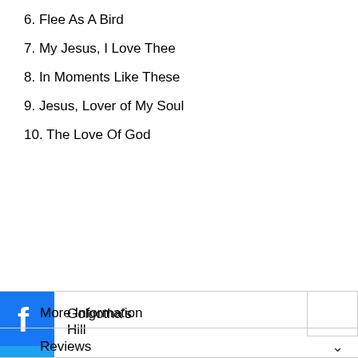6. Flee As A Bird
7. My Jesus, I Love Thee
8. In Moments Like These
9. Jesus, Lover of My Soul
10. The Love Of God
Golgotha’s Hill
Lord I’m Coming Home
My Tribute
[Figure (logo): Facebook blue icon with white F]
[Figure (logo): Twitter blue icon with white bird]
[Figure (logo): Facebook Messenger blue icon with white lightning bolt]
[Figure (logo): LinkedIn blue icon with white in]
More Information
Reviews